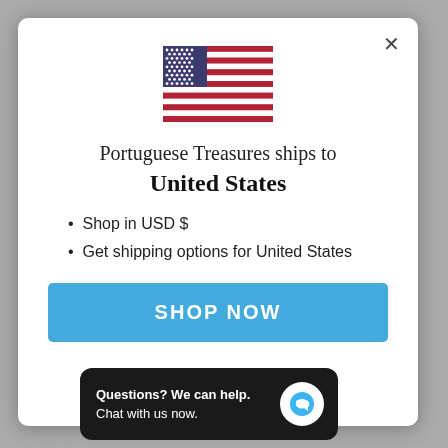[Figure (illustration): US flag SVG illustration centered in modal]
Portuguese Treasures ships to
United States
Shop in USD $
Get shipping options for United States
SHOP NOW
CH...RY
[Figure (screenshot): Chat widget overlay with text 'Questions? We can help. Chat with us now.' and a blue chat bubble icon]
every single pa...